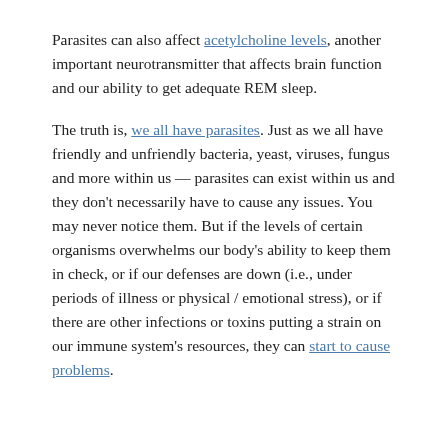Parasites can also affect acetylcholine levels, another important neurotransmitter that affects brain function and our ability to get adequate REM sleep.
The truth is, we all have parasites. Just as we all have friendly and unfriendly bacteria, yeast, viruses, fungus and more within us — parasites can exist within us and they don't necessarily have to cause any issues. You may never notice them. But if the levels of certain organisms overwhelms our body's ability to keep them in check, or if our defenses are down (i.e., under periods of illness or physical / emotional stress), or if there are other infections or toxins putting a strain on our immune system's resources, they can start to cause problems.